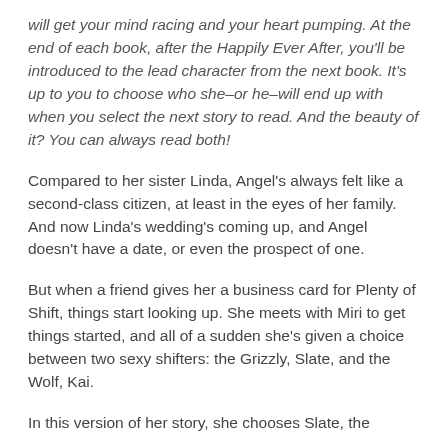will get your mind racing and your heart pumping. At the end of each book, after the Happily Ever After, you'll be introduced to the lead character from the next book. It's up to you to choose who she–or he–will end up with when you select the next story to read. And the beauty of it? You can always read both!
Compared to her sister Linda, Angel's always felt like a second-class citizen, at least in the eyes of her family. And now Linda's wedding's coming up, and Angel doesn't have a date, or even the prospect of one.
But when a friend gives her a business card for Plenty of Shift, things start looking up. She meets with Miri to get things started, and all of a sudden she's given a choice between two sexy shifters: the Grizzly, Slate, and the Wolf, Kai.
In this version of her story, she chooses Slate, the